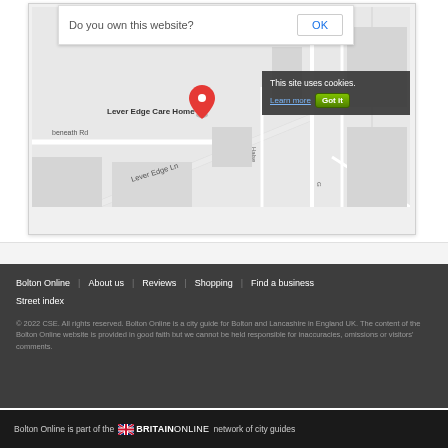[Figure (screenshot): Partial screenshot of a Google Maps embed showing Lever Edge Care Home area with streets including Lever Edge Ln, beneath Rd, and Halse street. A dialog box asks 'Do you own this website?' with an OK button. A cookie notice overlay reads 'This site uses cookies.' with 'Learn more' and 'Got it' buttons.]
Bolton Online   About us   Reviews   Shopping   Find a business   Street index
© 2022 CSE. All rights reserved. Bolton Online is a city guide for Bolton and Lancashire in England UK. The content of the Bolton Online website is provided in good faith but we cannot be held responsible for inaccuracies, omissions or visitors' comments.
Bolton Online is part of the BRITAINONLINE network of city guides